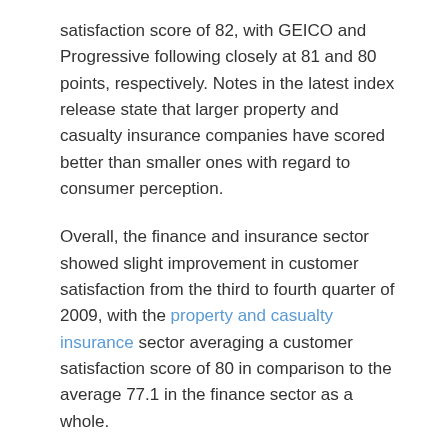satisfaction score of 82, with GEICO and Progressive following closely at 81 and 80 points, respectively. Notes in the latest index release state that larger property and casualty insurance companies have scored better than smaller ones with regard to consumer perception.
Overall, the finance and insurance sector showed slight improvement in customer satisfaction from the third to fourth quarter of 2009, with the property and casualty insurance sector averaging a customer satisfaction score of 80 in comparison to the average 77.1 in the finance sector as a whole.
Recent Posts